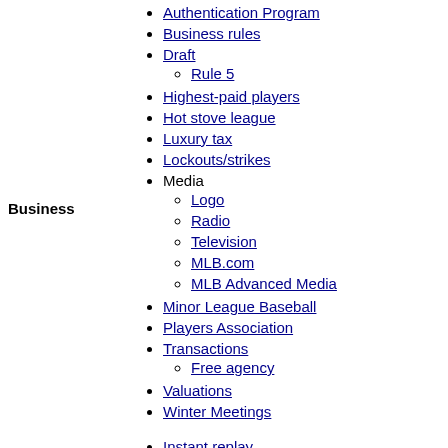Authentication Program
Business rules
Draft
Rule 5
Highest-paid players
Hot stove league
Luxury tax
Lockouts/strikes
Media
Logo
Radio
Television
MLB.com
MLB Advanced Media
Minor League Baseball
Players Association
Transactions
Free agency
Valuations
Winter Meetings
Business
Instant replay
Team uniforms
Stadiums
Mascots
Miscellaneous